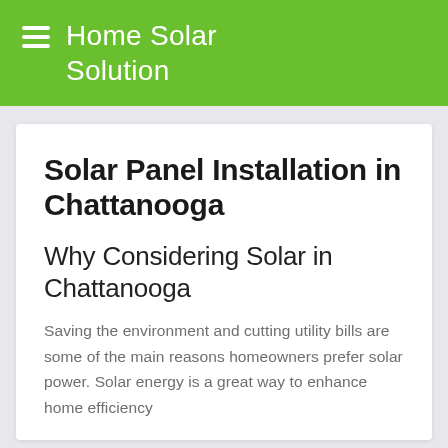Home Solar Solution
Solar Panel Installation in Chattanooga
Why Considering Solar in Chattanooga
Saving the environment and cutting utility bills are some of the main reasons homeowners prefer solar power. Solar energy is a great way to enhance home efficiency
About Us   Contact   Blog